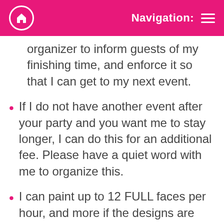Navigation:
organizer to inform guests of my finishing time, and enforce it so that I can get to my next event.
If I do not have another event after your party and you want me to stay longer, I can do this for an additional fee. Please have a quiet word with me to organize this.
I can paint up to 12 FULL faces per hour, and more if the designs are smaller. It is up to the event host to ensure they have booked enough time to accommodate all of their guests. I hate to leave anyone